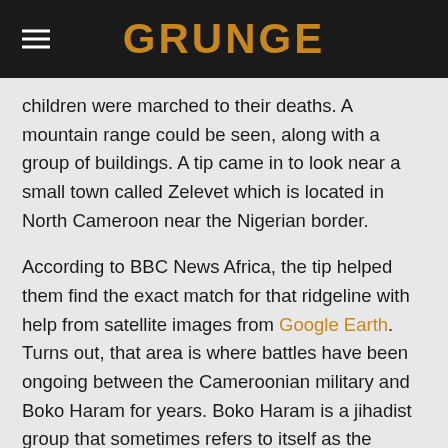GRUNGE
children were marched to their deaths. A mountain range could be seen, along with a group of buildings. A tip came in to look near a small town called Zelevet which is located in North Cameroon near the Nigerian border.
According to BBC News Africa, the tip helped them find the exact match for that ridgeline with help from satellite images from Google Earth. Turns out, that area is where battles have been ongoing between the Cameroonian military and Boko Haram for years. Boko Haram is a jihadist group that sometimes refers to itself as the Nigerian Taliban, according to the Counter Terrorism Guide. According to the BBC, the Cameroonian soldiers in the video were accusing the women of being involved